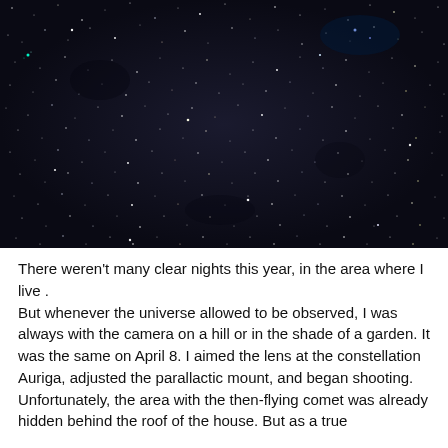[Figure (photo): A dense starfield photograph showing a dark night sky filled with numerous white and faintly coloured stars of varying brightness against a dark background.]
There weren't many clear nights this year, in the area where I live . But whenever the universe allowed to be observed, I was always with the camera on a hill or in the shade of a garden. It was the same on April 8. I aimed the lens at the constellation Auriga, adjusted the parallactic mount, and began shooting. Unfortunately, the area with the then-flying comet was already hidden behind the roof of the house. But as a true